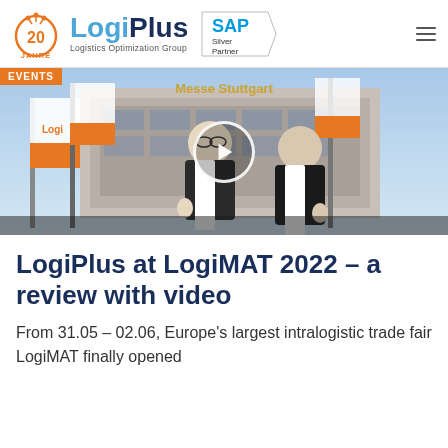[Figure (logo): LogiPlus Logistics Optimization Group logo with 20 Jahre badge, and SAP Silver Partner badge]
[Figure (photo): Video thumbnail showing two men giving thumbs up in front of Messe Stuttgart building with LogiPlus branded flags, with a play button overlay and orange Events tag]
LogiPlus at LogiMAT 2022 – a review with video
From 31.05 – 02.06, Europe's largest intralogistic trade fair LogiMAT finally opened